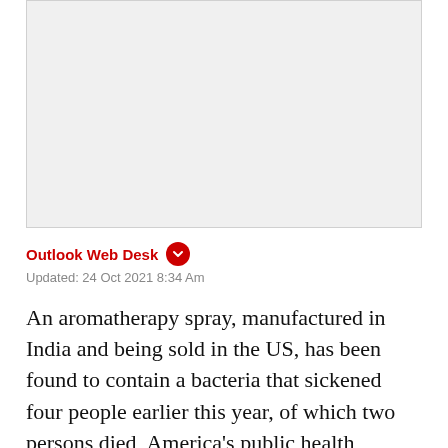[Figure (photo): Image placeholder area, light gray background]
Outlook Web Desk
Updated: 24 Oct 2021 8:34 Am
An aromatherapy spray, manufactured in India and being sold in the US, has been found to contain a bacteria that sickened four people earlier this year, of which two persons died, America's public health agency has said.